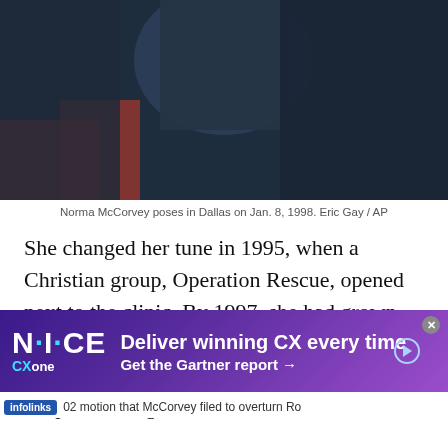[Figure (photo): Dark photo of Norma McCorvey, showing upper body in dark clothing with red/orange fabric visible at lower left]
Norma McCorvey poses in Dallas on Jan. 8, 1998. Eric Gay / AP
She changed her tune in 1995, when a Christian group, Operation Rescue, opened next to the clinic. By 1997, she had grown close with the group and became a born-again Christian, traveling around the country to speak out against abortion.
02 motion that McCorvey filed to overturn Ro
[Figure (screenshot): NICE CXone advertisement banner: 'Deliver winning CX every time' and 'Get the Gartner report →' with purple gradient background]